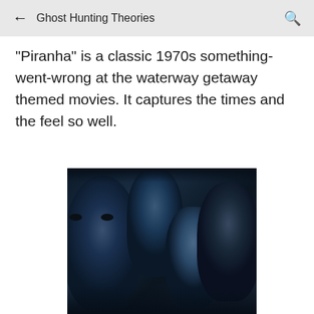Ghost Hunting Theories
"Piranha" is a classic 1970s something-went-wrong at the waterway getaway themed movies. It captures the times and the feel so well.
[Figure (photo): Horror movie promotional image showing four young people with frightened expressions against a dark blue background, appearing to be from a horror film.]